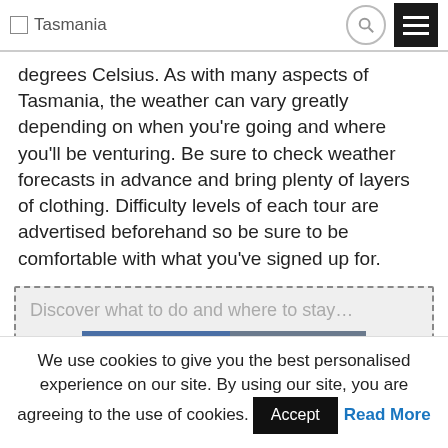Tasmania
degrees Celsius. As with many aspects of Tasmania, the weather can vary greatly depending on when you're going and where you'll be venturing. Be sure to check weather forecasts in advance and bring plenty of layers of clothing. Difficulty levels of each tour are advertised beforehand so be sure to be comfortable with what you've signed up for.
Discover what to do and where to stay... ACTIVITIES  CAR HIRE
We use cookies to give you the best personalised experience on our site. By using our site, you are agreeing to the use of cookies. Accept  Read More